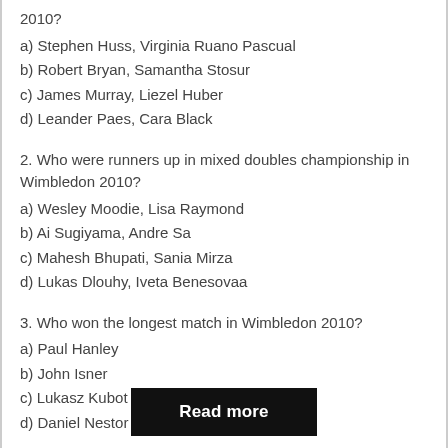2010?
a) Stephen Huss, Virginia Ruano Pascual
b) Robert Bryan, Samantha Stosur
c) James Murray, Liezel Huber
d) Leander Paes, Cara Black
2. Who were runners up in mixed doubles championship in Wimbledon 2010?
a) Wesley Moodie, Lisa Raymond
b) Ai Sugiyama, Andre Sa
c) Mahesh Bhupati, Sania Mirza
d) Lukas Dlouhy, Iveta Benesovaa
3. Who won the longest match in Wimbledon 2010?
a) Paul Hanley
b) John Isner
c) Lukasz Kubot
d) Daniel Nestor
Read more